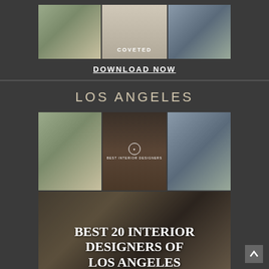[Figure (photo): Collage of three interior/exterior luxury images with COVETED text overlay in center panel]
DOWNLOAD NOW
LOS ANGELES
[Figure (photo): Book cover collage: top row of three interior design photos with Best Interior Designers badge, bottom large photo with overlaid text BEST 20 INTERIOR DESIGNERS OF LOS ANGELES]